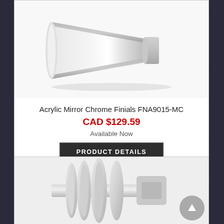[Figure (photo): Acrylic Mirror Chrome Finial product photo - a tapered cylindrical decorative curtain rod finial in white/chrome finish]
Acrylic Mirror Chrome Finials FNA9015-MC
CAD $129.59
Available Now
PRODUCT DETAILS
[Figure (photo): Second product photo - chrome/nickel curtain rod hardware with circular/disc-shaped finial design, partially visible]